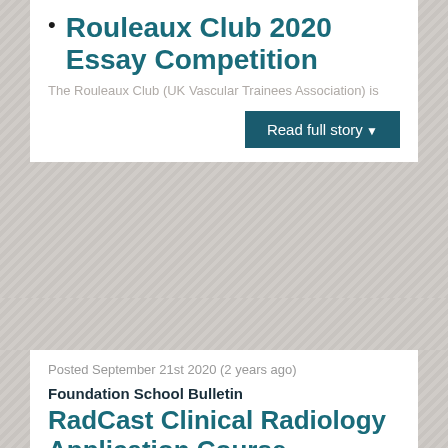Rouleaux Club 2020 Essay Competition
The Rouleaux Club (UK Vascular Trainees Association) is…
Read full story
Posted September 21st 2020 (2 years ago)
Foundation School Bulletin
RadCast Clinical Radiology Application Course
Are you applying for Radiology this year? Most trainees…
Read full story
Posted August 28th 2020 (2 years ago)
Foundation School Bulletin